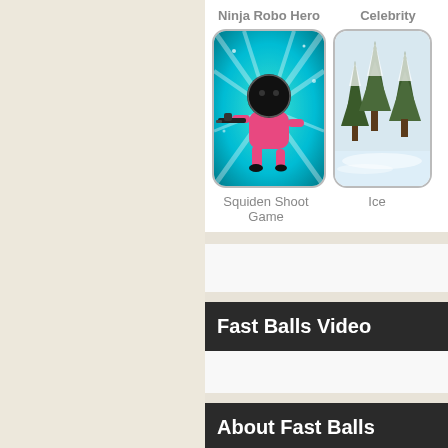Ninja Robo Hero
Celebrity
[Figure (illustration): Squiden Shoot Game thumbnail: pink ninja character with gun on teal sparkle background]
[Figure (photo): Ice game thumbnail: snowy winter landscape with trees]
Squiden Shoot Game
Ice
Fast Balls Video
About Fast Balls
You can play Fast Balls free on arcade,shooting, avoid,avoider